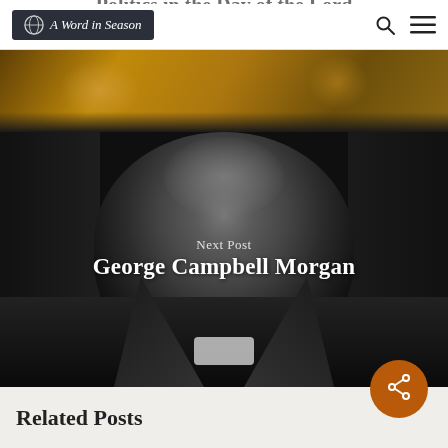A Word in Season
[Figure (photo): Sepia-toned war scene image strip at top, partially cropped]
[Figure (photo): Black and white portrait photograph of George Campbell Morgan, a man in clerical collar against dark background]
Next Post
George Campbell Morgan
Related Posts